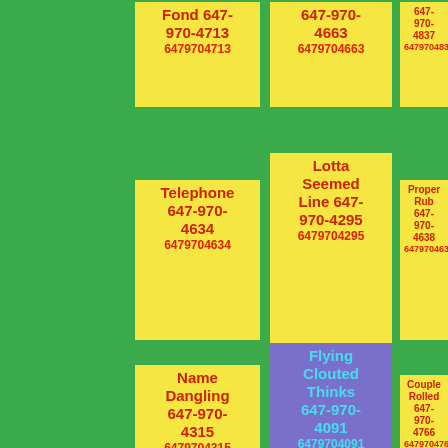Fond 647-970-4713 6479704713
647-970-4663 6479704663
647-970-4837 6479704837
Telephone 647-970-4634 6479704634
Lotta Seemed Line 647-970-4295 6479704295
Proper Rub 647-970-4638 6479704638
Name Dangling 647-970-4315 6479704315
Flying Clouted Thinks 647-970-4091 6479704091
Couple Rolled 647-970-4766 6479704766
Ptolemy Thats Befuddle 647-970-
Daylight Quirrell 647-970-
Clicked 647-970-